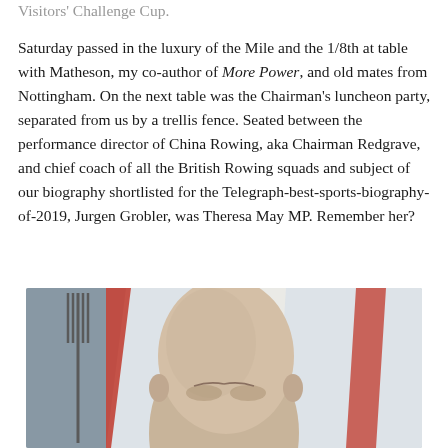Visitors' Challenge Cup.
Saturday passed in the luxury of the Mile and the 1/8th at table with Matheson, my co-author of More Power, and old mates from Nottingham. On the next table was the Chairman's luncheon party, separated from us by a trellis fence. Seated between the performance director of China Rowing, aka Chairman Redgrave, and chief coach of all the British Rowing squads and subject of our biography shortlisted for the Telegraph-best-sports-biography-of-2019, Jurgen Grobler, was Theresa May MP. Remember her?
[Figure (photo): Close-up photograph of a bald man's head, with a fork and striped background (possibly a flag) visible behind him.]